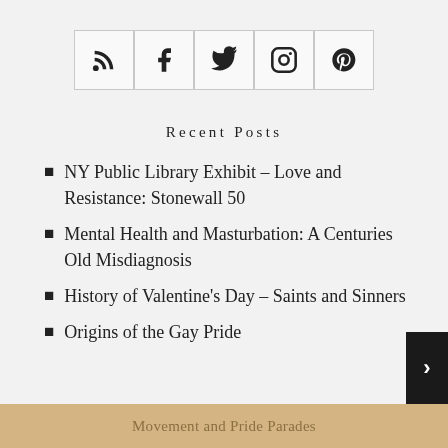[Figure (other): Row of five social media icon buttons (RSS, Facebook, Twitter, Instagram, Pinterest) in bordered boxes]
Recent Posts
NY Public Library Exhibit – Love and Resistance: Stonewall 50
Mental Health and Masturbation: A Centuries Old Misdiagnosis
History of Valentine's Day – Saints and Sinners
Origins of the Gay Pride
Movement and Pride Parades